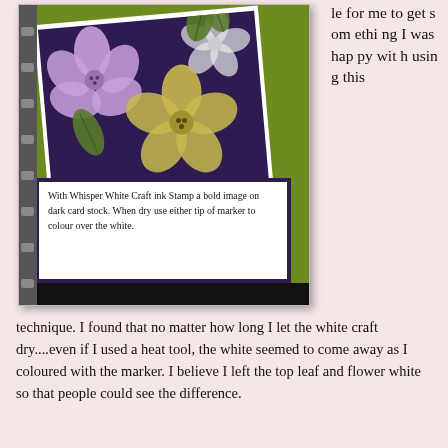[Figure (photo): A scrapbook page with a green background showing a tilted dark purple card decorated with hand-drawn flowers (pink/lavender and yellow) and green leaves. Below the card is a white text box bordered in purple containing handwritten crafting instructions.]
le for me to get something I was happy with using this
technique. I found that no matter how long I let the white craft dry....even if I used a heat tool, the white seemed to come away as I coloured with the marker. I believe I left the top leaf and flower white so that people could see the difference.